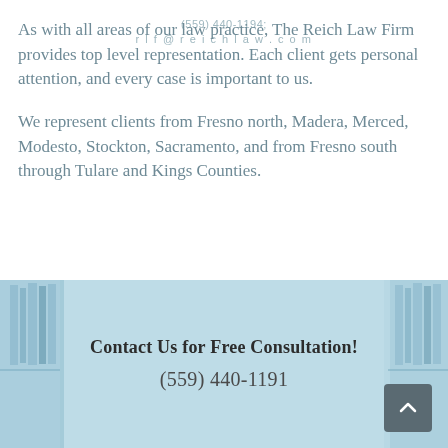As with all areas of our law practice, The Reich Law Firm provides top level representation. Each client gets personal attention, and every case is important to us.
We represent clients from Fresno north, Madera, Merced, Modesto, Stockton, Sacramento, and from Fresno south through Tulare and Kings Counties.
[Figure (photo): Background image of law library with light blue tint overlay, containing text 'Contact Us for Free Consultation!' and phone number '(559) 440-1191', with a scroll-to-top button in the bottom right corner.]